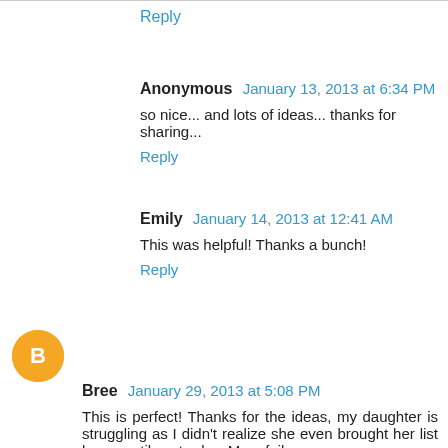Reply
Anonymous January 13, 2013 at 6:34 PM
so nice... and lots of ideas... thanks for sharing...
Reply
Emily January 14, 2013 at 12:41 AM
This was helpful! Thanks a bunch!
Reply
Bree January 29, 2013 at 5:08 PM
This is perfect! Thanks for the ideas, my daughter is struggling as I didn't realize she even brought her list home until yesterday. Mom fail.
Reply